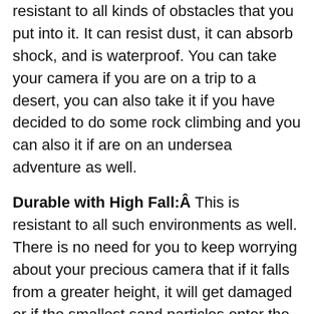resistant to all kinds of obstacles that you put into it. It can resist dust, it can absorb shock, and is waterproof. You can take your camera if you are on a trip to a desert, you can also take it if you have decided to do some rock climbing and you can also it if are on an undersea adventure as well.
Durable with High Fall:Â This is resistant to all such environments as well. There is no need for you to keep worrying about your precious camera that if it falls from a greater height, it will get damaged or if the smallest sand particles enter the lens space, the lens might get disturbed.
ThiEYE T3 Waterproof Built: